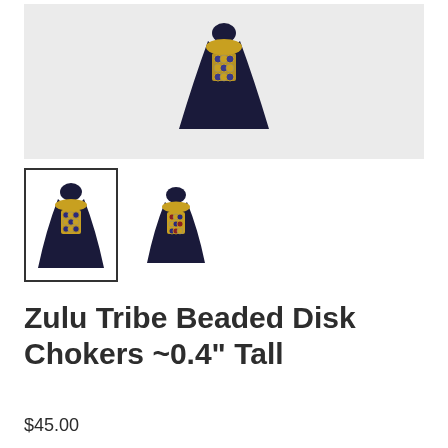[Figure (photo): Large light gray placeholder/main product image area for Zulu Tribe Beaded Disk Choker necklace on dark bust display]
[Figure (photo): Two thumbnail images of Zulu Tribe Beaded Disk Choker necklaces displayed on dark navy velvet bust forms with gold beaded disk pendants. Left thumbnail is selected with a border.]
Zulu Tribe Beaded Disk Chokers ~0.4" Tall
$45.00